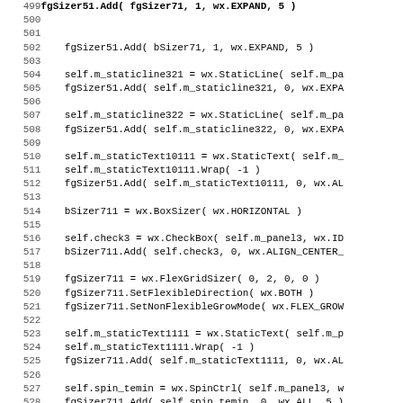[Figure (screenshot): Source code listing in Python (wxPython GUI code), showing line numbers 499-531 with code for adding sizers, static lines, static text, checkboxes, and spin controls to a wxPython panel layout.]